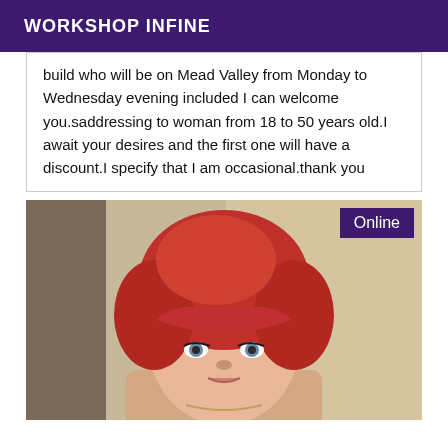WORKSHOP INFINE
build who will be on Mead Valley from Monday to Wednesday evening included I can welcome you.saddressing to woman from 18 to 50 years old.I await your desires and the first one will have a discount.I specify that I am occasional.thank you
[Figure (photo): Close-up photo of a woman with red hair and bangs looking at the camera, with an 'Online' badge in the top-right corner]